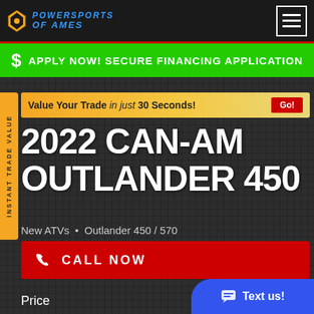POWERSPORTS OF AMES
$ APPLY NOW! SECURE FINANCING APPLICATION
[Figure (screenshot): Value Your Trade in just 30 Seconds! Go button banner]
2022 CAN-AM OUTLANDER 450
New ATVs • Outlander 450 / 570
CALL NOW
Price $6,699
GET PRICE ALERT!
Text us!